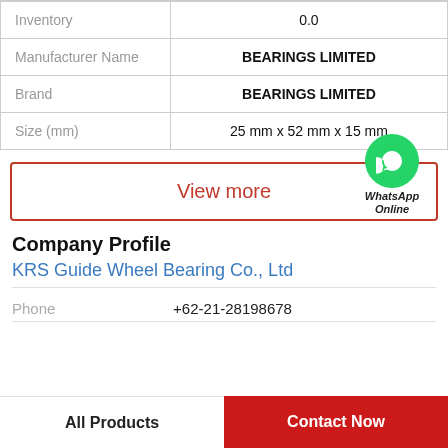|  |  |
| --- | --- |
| Inventory | 0.0 |
| Manufacturer Name | BEARINGS LIMITED |
| Brand | BEARINGS LIMITED |
| Size (mm) | 25 mm x 52 mm x 15 mm |
View more
[Figure (logo): WhatsApp green circle icon with phone handset, labeled WhatsApp Online]
Company Profile
KRS Guide Wheel Bearing Co., Ltd
Phone  +62-21-28198678
All Products   Contact Now